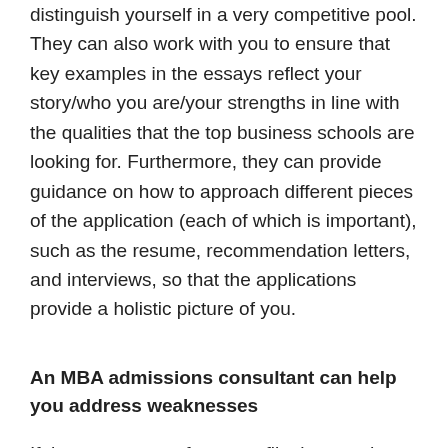distinguish yourself in a very competitive pool. They can also work with you to ensure that key examples in the essays reflect your story/who you are/your strengths in line with the qualities that the top business schools are looking for. Furthermore, they can provide guidance on how to approach different pieces of the application (each of which is important), such as the resume, recommendation letters, and interviews, so that the applications provide a holistic picture of you.
An MBA admissions consultant can help you address weaknesses
If there are parts of your profile that need bolstering, an MBA admissions